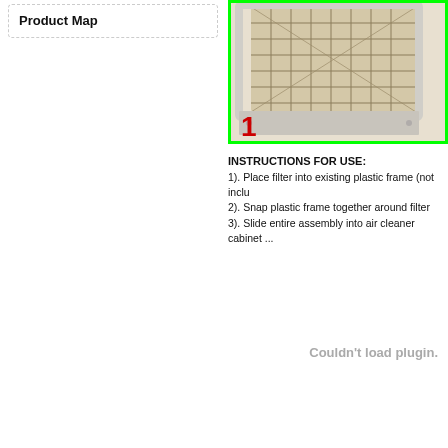Product Map
[Figure (photo): Air filter inserted into a white plastic frame/housing, shown partially open. A large red number '1' appears in the lower left corner of the image. The photo is framed with a bright green border.]
INSTRUCTIONS FOR USE:
1). Place filter into existing plastic frame (not inclu...
2). Snap plastic frame together around filter
3). Slide entire assembly into air cleaner cabinet ...
Couldn't load plugin.